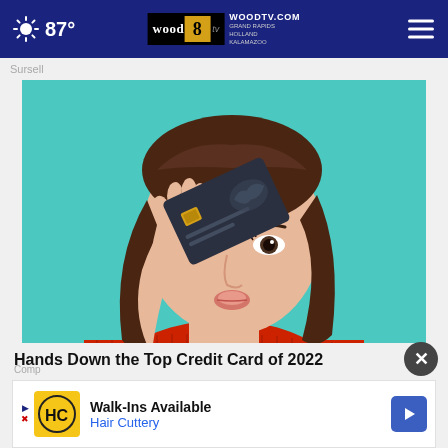87° WOODTV.COM GRAND RAPIDS HOLLAND KALAMAZOO wood 8 tv
Sursell
[Figure (photo): Woman in red turtleneck sweater holding a dark credit card up to cover one eye, against a teal/turquoise background]
Hands Down the Top Credit Card of 2022
Comp
Walk-Ins Available Hair Cuttery